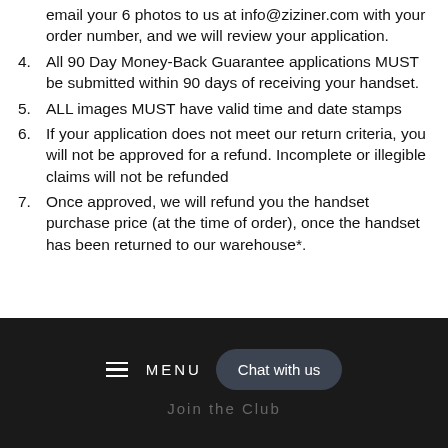email your 6 photos to us at info@ziziner.com with your order number, and we will review your application.
4. All 90 Day Money-Back Guarantee applications MUST be submitted within 90 days of receiving your handset.
5. ALL images MUST have valid time and date stamps
6. If your application does not meet our return criteria, you will not be approved for a refund. Incomplete or illegible claims will not be refunded
7. Once approved, we will refund you the handset purchase price (at the time of order), once the handset has been returned to our warehouse*.
MENU  Chat with us  Join the Club